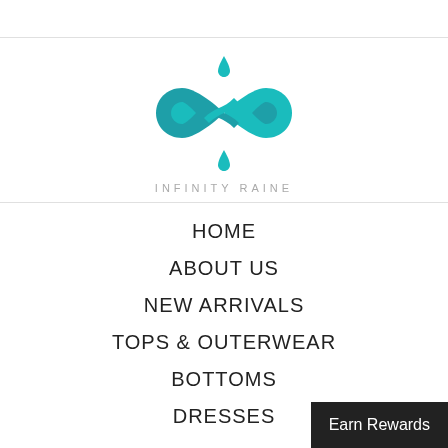[Figure (logo): Infinity Raine brand logo — teal/turquoise infinity symbol with water drop accents above and below, with 'INFINITY RAINE' text beneath]
HOME
ABOUT US
NEW ARRIVALS
TOPS & OUTERWEAR
BOTTOMS
DRESSES
Earn Rewards